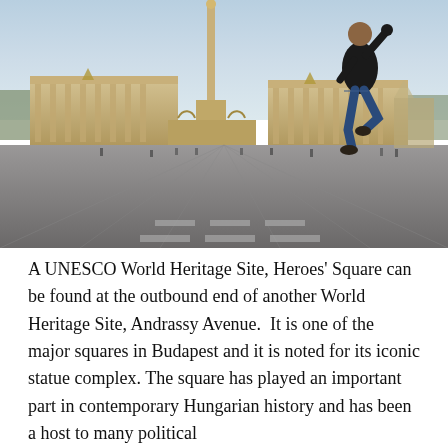[Figure (photo): A person jumping in front of Heroes' Square in Budapest, Hungary. The grand colonnade monument with tall central column is visible in the background, with a wide open plaza in the foreground and light blue sky above.]
A UNESCO World Heritage Site, Heroes' Square can be found at the outbound end of another World Heritage Site, Andrassy Avenue.  It is one of the major squares in Budapest and it is noted for its iconic statue complex. The square has played an important part in contemporary Hungarian history and has been a host to many political